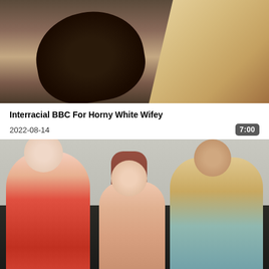[Figure (photo): Close-up video thumbnail showing a blurred intimate scene]
Interracial BBC For Horny White Wifey
2022-08-14
7:00
[Figure (photo): Three women in a bathroom/spa setting - one in red dress on left, one in center, one in colorful robe on right]